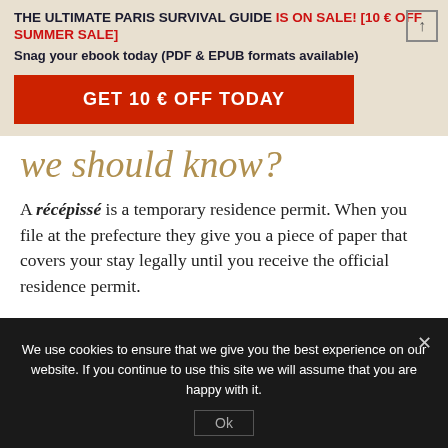THE ULTIMATE PARIS SURVIVAL GUIDE IS ON SALE! [10 € OFF SUMMER SALE] Snag your ebook today (PDF & EPUB formats available)
GET 10 € OFF TODAY
we should know?
A récépissé is a temporary residence permit. When you file at the prefecture they give you a piece of paper that covers your stay legally until you receive the official residence permit.
We use cookies to ensure that we give you the best experience on our website. If you continue to use this site we will assume that you are happy with it.